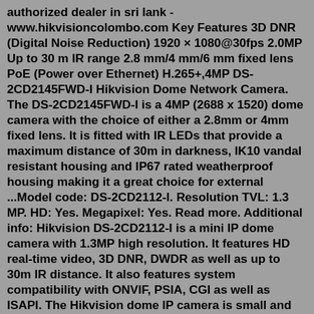authorized dealer in sri lank - www.hikvisioncolombo.com Key Features 3D DNR (Digital Noise Reduction) 1920 × 1080@30fps 2.0MP Up to 30 m IR range 2.8 mm/4 mm/6 mm fixed lens PoE (Power over Ethernet) H.265+,4MP DS-2CD2145FWD-I Hikvision Dome Network Camera. The DS-2CD2145FWD-I is a 4MP (2688 x 1520) dome camera with the choice of either a 2.8mm or 4mm fixed lens. It is fitted with IR LEDs that provide a maximum distance of 30m in darkness, IK10 vandal resistant housing and IP67 rated weatherproof housing making it a great choice for external ...Model code: DS-2CD2112-I. Resolution TVL: 1.3 MP. HD: Yes. Megapixel: Yes. Read more. Additional info: Hikvision DS-2CD2112-I is a mini IP dome camera with 1.3MP high resolution. It features HD real-time video, 3D DNR, DWDR as well as up to 30m IR distance. It also features system compatibility with ONVIF, PSIA, CGI as well as ISAPI. The Hikvision dome IP camera is small and inexpensive yet provides